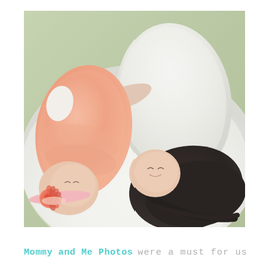[Figure (photo): A mother and baby lying side by side on a white fluffy blanket/rug on grass. The baby is dressed in a pink/salmon outfit and wearing a pink headband with a coral flower. The mother is wearing a white knit sweater and has long dark hair spread out. They are lying with their heads close together, facing each other. The background shows green grass. The photo has a soft, warm, vintage tone.]
Mommy and Me Photos were a must for us